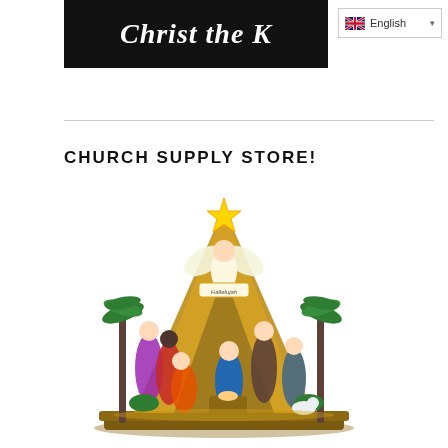Christ the K... | English
CHURCH SUPPLY STORE!
[Figure (photo): A decorative resin nativity scene figurine set featuring the Holy Family, three wise men, shepherds, animals, palm trees, and an angel at the top of a golden stable arch with a star.]